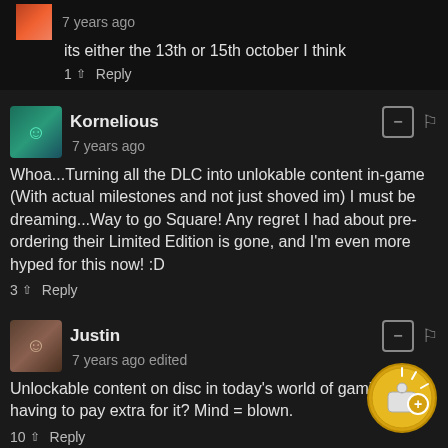7 years ago
its either the 13th or 15th october I think
1  Reply
Kornelious
7 years ago
Whoa...Turning all the DLC into unlokable content in-game (With actual milestones and not just shoved im) I must be dreaming...Way to go Square! Any regret I had about pre-ordering their Limited Edition is gone, and I'm even more hyped for this now! :D
3  Reply
Justin
7 years ago edited
Unlockable content on disc in today's world of gaming of having to pay extra for it? Mind = blown.
10  Reply
Slayven19  → Justin
7 years ago edited